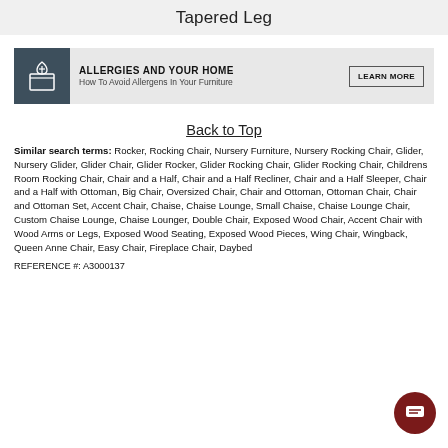Tapered Leg
[Figure (infographic): Ad banner: dark teal box icon on left, text 'ALLERGIES AND YOUR HOME - How To Avoid Allergens In Your Furniture', and a 'LEARN MORE' button on right]
Back to Top
Similar search terms: Rocker, Rocking Chair, Nursery Furniture, Nursery Rocking Chair, Glider, Nursery Glider, Glider Chair, Glider Rocker, Glider Rocking Chair, Glider Rocking Chair, Childrens Room Rocking Chair, Chair and a Half, Chair and a Half Recliner, Chair and a Half Sleeper, Chair and a Half with Ottoman, Big Chair, Oversized Chair, Chair and Ottoman, Ottoman Chair, Chair and Ottoman Set, Accent Chair, Chaise, Chaise Lounge, Small Chaise, Chaise Lounge Chair, Custom Chaise Lounge, Chaise Lounger, Double Chair, Exposed Wood Chair, Accent Chair with Wood Arms or Legs, Exposed Wood Seating, Exposed Wood Pieces, Wing Chair, Wingback, Queen Anne Chair, Easy Chair, Fireplace Chair, Daybed
REFERENCE #: A3000137